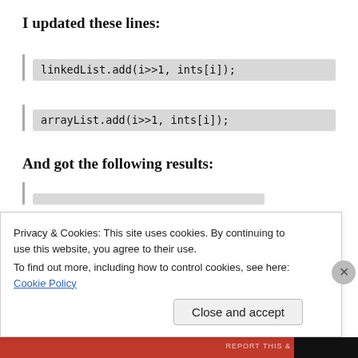I updated these lines:
linkedList.add(i>>1, ints[i]);
arrayList.add(i>>1, ints[i]);
And got the following results:
Privacy & Cookies: This site uses cookies. By continuing to use this website, you agree to their use.
To find out more, including how to control cookies, see here:
Cookie Policy
Close and accept